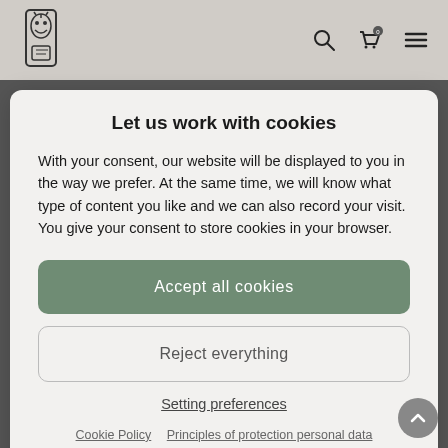[Figure (screenshot): Website header bar with logo icon, search icon, cart icon with badge showing 0, and hamburger menu icon on a gray background]
Let us work with cookies
With your consent, our website will be displayed to you in the way we prefer. At the same time, we will know what type of content you like and we can also record your visit. You give your consent to store cookies in your browser.
Accept all cookies
Reject everything
Setting preferences
Cookie Policy   Principles of protection personal data